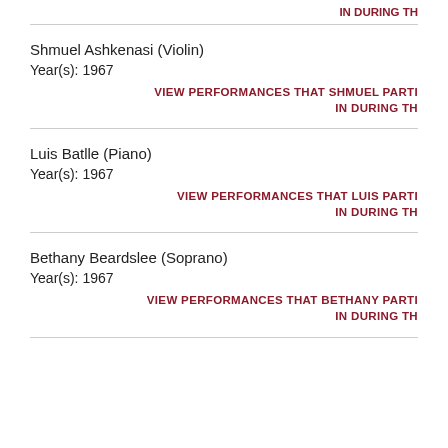IN DURING TH
Shmuel Ashkenasi (Violin)
Year(s): 1967
VIEW PERFORMANCES THAT SHMUEL PARTI IN DURING TH
Luis Batlle (Piano)
Year(s): 1967
VIEW PERFORMANCES THAT LUIS PARTI IN DURING TH
Bethany Beardslee (Soprano)
Year(s): 1967
VIEW PERFORMANCES THAT BETHANY PARTI IN DURING TH